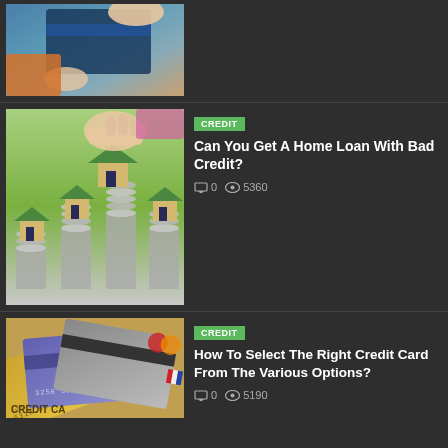[Figure (photo): Hand holding a blue credit card]
[Figure (photo): Hand placing a toy house on stacks of coins with other toy houses]
CREDIT
Can You Get A Home Loan With Bad Credit?
0   5360
[Figure (photo): Fan of multiple credit cards including gold and purple cards with CREDIT CARD text visible]
CREDIT
How To Select The Right Credit Card From The Various Options?
0   5190